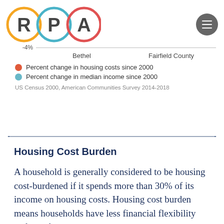[Figure (logo): RPA logo with three circles: R in yellow circle, P in blue circle, A in red circle]
[Figure (continuous-plot): Chart snippet showing -4% axis label with a horizontal line, and axis labels for Bethel and Fairfield County. Legend shows red dot for Percent change in housing costs since 2000 and blue dot for Percent change in median income since 2000.]
US Census 2000, American Communities Survey 2014-2018
Housing Cost Burden
A household is generally considered to be housing cost-burdened if it spends more than 30% of its income on housing costs. Housing cost burden means households have less financial flexibility and may have